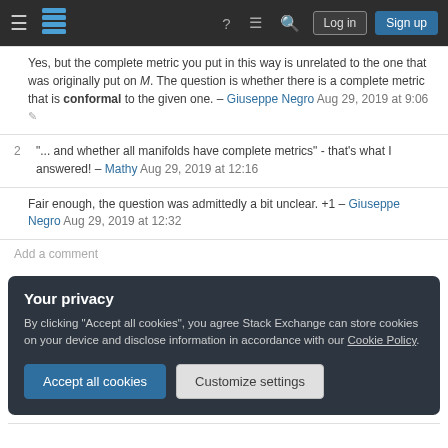Stack Exchange navigation bar with logo, help, chat, search, Log in, Sign up
Yes, but the complete metric you put in this way is unrelated to the one that was originally put on M. The question is whether there is a complete metric that is conformal to the given one. – Giuseppe Negro Aug 29, 2019 at 9:06
"... and whether all manifolds have complete metrics" - that's what I answered! – Mathy Aug 29, 2019 at 12:16
Fair enough, the question was admittedly a bit unclear. +1 – Giuseppe Negro Aug 29, 2019 at 12:32
Add a comment
Your privacy
By clicking "Accept all cookies", you agree Stack Exchange can store cookies on your device and disclose information in accordance with our Cookie Policy.
Accept all cookies   Customize settings